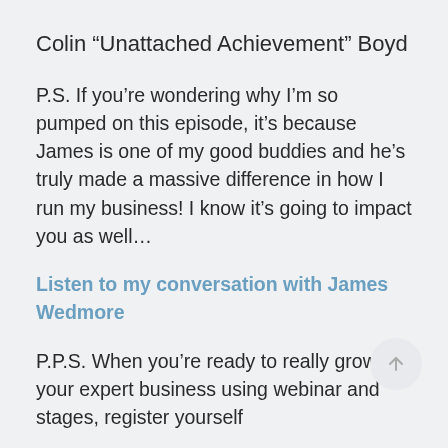Colin “Unattached Achievement” Boyd
P.S. If you’re wondering why I’m so pumped on this episode, it’s because James is one of my good buddies and he’s truly made a massive difference in how I run my business! I know it’s going to impact you as well…
Listen to my conversation with James Wedmore
P.P.S. When you’re ready to really grow your expert business using webinar and stages, register yourself
[Figure (other): Scroll-to-top arrow button (circle with upward arrow)]